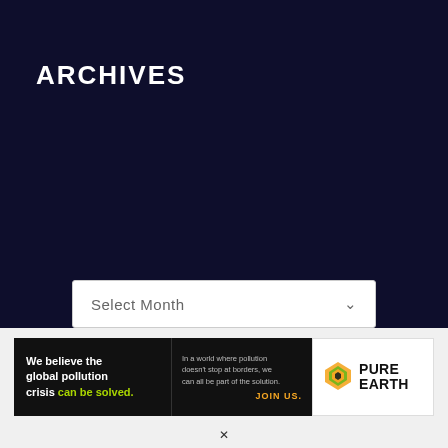ARCHIVES
Select Month
[Figure (screenshot): Pure Earth advertisement banner: 'We believe the global pollution crisis can be solved. In a world where pollution doesn't stop at borders, we can all be part of the solution. JOIN US.' with Pure Earth logo.]